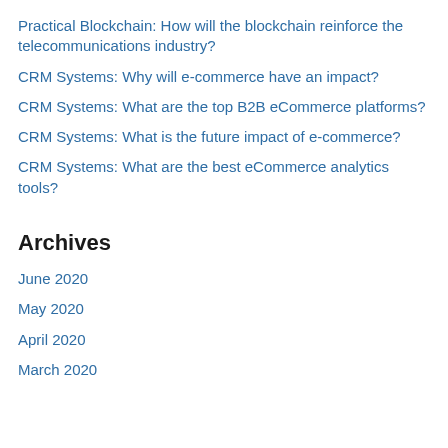Practical Blockchain: How will the blockchain reinforce the telecommunications industry?
CRM Systems: Why will e-commerce have an impact?
CRM Systems: What are the top B2B eCommerce platforms?
CRM Systems: What is the future impact of e-commerce?
CRM Systems: What are the best eCommerce analytics tools?
Archives
June 2020
May 2020
April 2020
March 2020